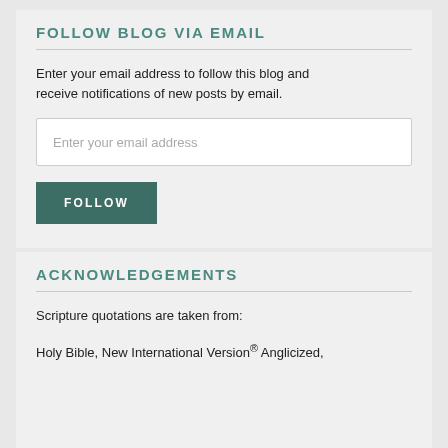FOLLOW BLOG VIA EMAIL
Enter your email address to follow this blog and receive notifications of new posts by email.
Enter your email address
FOLLOW
ACKNOWLEDGEMENTS
Scripture quotations are taken from:
Holy Bible, New International Version® Anglicized,